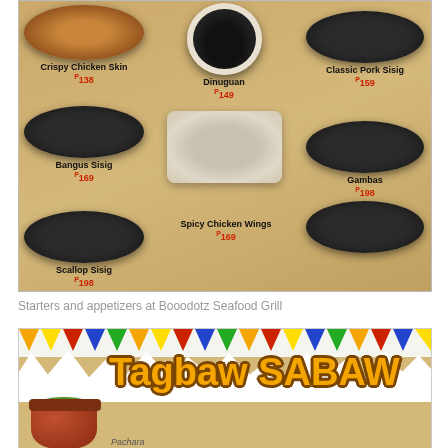[Figure (photo): Menu board showing starters and appetizers at Booodotz Seafood Grill including Crispy Chicken Skin P138, Bangus Sisig P169, Scallop Sisig P198, Dinuguan P149, Spicy Chicken Wings P169, Classic Pork Sisig P159, Gambas P198]
Starters and appetizers at Booodotz Seafood Grill
[Figure (photo): Tagbaw SABAW banner with colorful bunting flags and a clay pot with soup, text says Tagbaw SABAW, showing Pachara at bottom]